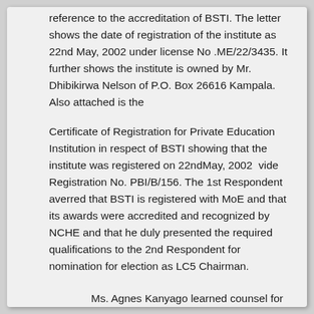reference to the accreditation of BSTI. The letter shows the date of registration of the institute as 22nd May, 2002 under license No .ME/22/3435. It further shows the institute is owned by Mr. Dhibikirwa Nelson of P.O. Box 26616 Kampala. Also attached is the
Certificate of Registration for Private Education Institution in respect of BSTI showing that the institute was registered on 22ndMay, 2002  vide Registration No. PBI/B/156. The 1st Respondent averred that BSTI is registered with MoE and that its awards were accredited and recognized by NCHE and that he duly presented the required qualifications to the 2nd Respondent for nomination for election as LC5 Chairman.
Ms. Agnes Kanyago learned counsel for the IstRespondent submitted that based on the